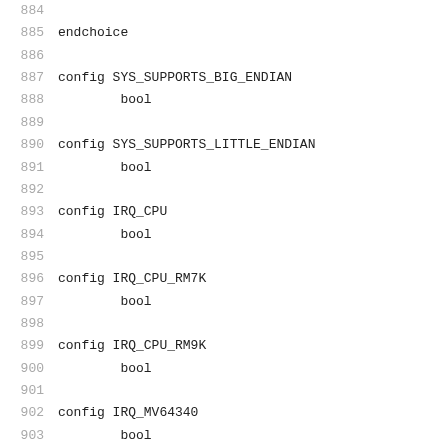884
885  endchoice
886
887  config SYS_SUPPORTS_BIG_ENDIAN
888          bool
889
890  config SYS_SUPPORTS_LITTLE_ENDIAN
891          bool
892
893  config IRQ_CPU
894          bool
895
896  config IRQ_CPU_RM7K
897          bool
898
899  config IRQ_CPU_RM9K
900          bool
901
902  config IRQ_MV64340
903          bool
904